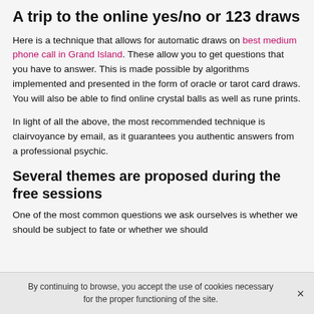A trip to the online yes/no or 123 draws
Here is a technique that allows for automatic draws on best medium phone call in Grand Island. These allow you to get questions that you have to answer. This is made possible by algorithms implemented and presented in the form of oracle or tarot card draws. You will also be able to find online crystal balls as well as rune prints.
In light of all the above, the most recommended technique is clairvoyance by email, as it guarantees you authentic answers from a professional psychic.
Several themes are proposed during the free sessions
One of the most common questions we ask ourselves is whether we should be subject to fate or whether we should
By continuing to browse, you accept the use of cookies necessary for the proper functioning of the site.